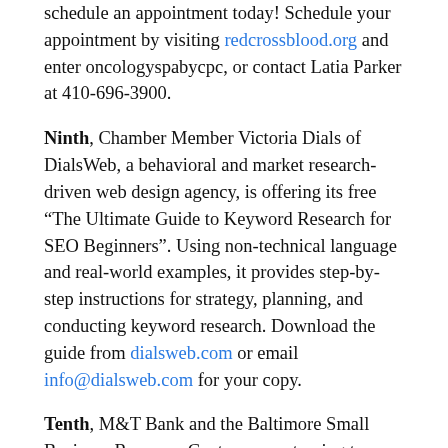schedule an appointment today! Schedule your appointment by visiting redcrossblood.org and enter oncologyspabycpc, or contact Latia Parker at 410-696-3900.
Ninth, Chamber Member Victoria Dials of DialsWeb, a behavioral and market research-driven web design agency, is offering its free “The Ultimate Guide to Keyword Research for SEO Beginners”. Using non-technical language and real-world examples, it provides step-by-step instructions for strategy, planning, and conducting keyword research. Download the guide from dialsweb.com or email info@dialsweb.com for your copy.
Tenth, M&T Bank and the Baltimore Small Business Resource Center are partnering to offer a range of support services and resources for Baltimore businesses. Accepted applicants will be enrolled in a 10 week-long program that offers mentorship and access to capital and investment. To